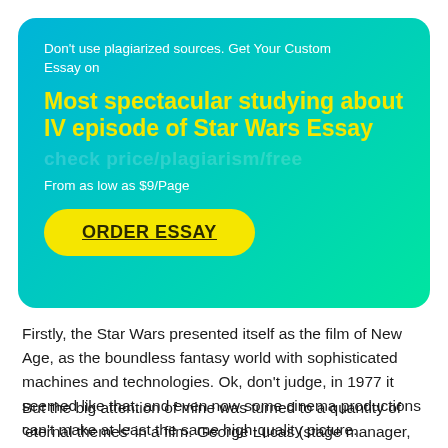Don't use plagiarized sources. Get Your Custom Essay on
Most spectacular studying about IV episode of Star Wars Essay
From as low as $9/Page
ORDER ESSAY
Firstly, the Star Wars presented itself as the film of New Age, as the boundless fantasy world with sophisticated machines and technologies. Ok, don't judge, in 1977 it seemed like that, and even now some cinema productions can't make at least the same high-quality picture.
But the big attention of mine was turned to a quantity of 'eternal themes' in a film. George Lucas (stage manager, producer and the author of the idea) contrasted and